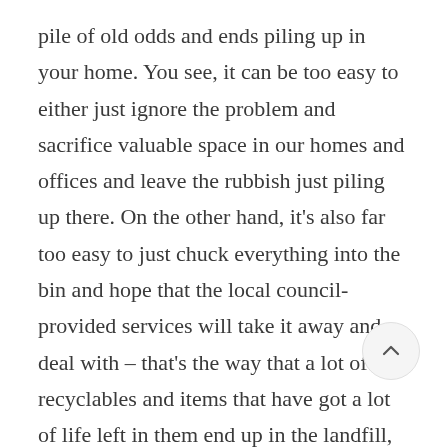pile of old odds and ends piling up in your home. You see, it can be too easy to either just ignore the problem and sacrifice valuable space in our homes and offices and leave the rubbish just piling up there. On the other hand, it's also far too easy to just chuck everything into the bin and hope that the local council-provided services will take it away and deal with – that's the way that a lot of recyclables and items that have got a lot of life left in them end up in the landfill, where they shouldn't. Instead, Precision Junk Removal is here to help you manage your waste and get it out of your homes and business premises off to where it